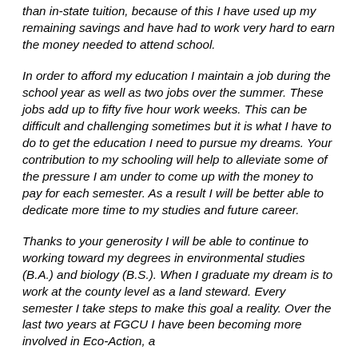than in-state tuition, because of this I have used up my remaining savings and have had to work very hard to earn the money needed to attend school.
In order to afford my education I maintain a job during the school year as well as two jobs over the summer. These jobs add up to fifty five hour work weeks. This can be difficult and challenging sometimes but it is what I have to do to get the education I need to pursue my dreams. Your contribution to my schooling will help to alleviate some of the pressure I am under to come up with the money to pay for each semester. As a result I will be better able to dedicate more time to my studies and future career.
Thanks to your generosity I will be able to continue to working toward my degrees in environmental studies (B.A.) and biology (B.S.). When I graduate my dream is to work at the county level as a land steward. Every semester I take steps to make this goal a reality. Over the last two years at FGCU I have been becoming more involved in Eco-Action, a